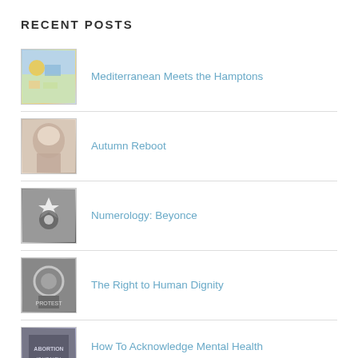RECENT POSTS
Mediterranean Meets the Hamptons
Autumn Reboot
Numerology: Beyonce
The Right to Human Dignity
How To Acknowledge Mental Health Concerns Following Roe v. Wade